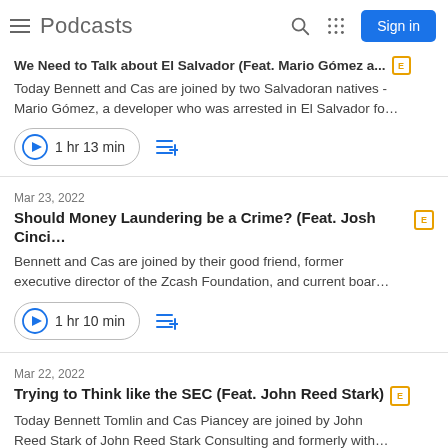Podcasts
We Need to Talk about El Salvador (Feat. Mario Gómez a... Today Bennett and Cas are joined by two Salvadoran natives - Mario Gómez, a developer who was arrested in El Salvador fo… 1 hr 13 min
Mar 23, 2022
Should Money Laundering be a Crime? (Feat. Josh Cinci… [E]
Bennett and Cas are joined by their good friend, former executive director of the Zcash Foundation, and current boar…
1 hr 10 min
Mar 22, 2022
Trying to Think like the SEC (Feat. John Reed Stark) [E]
Today Bennett Tomlin and Cas Piancey are joined by John Reed Stark of John Reed Stark Consulting and formerly with…